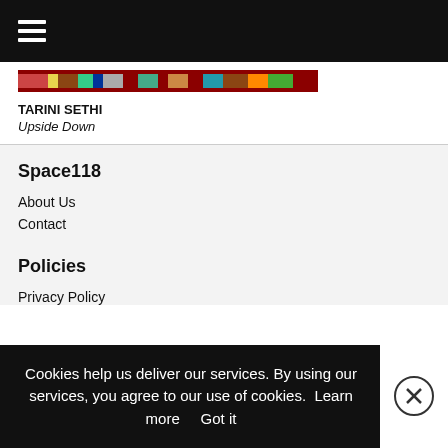Menu (hamburger icon)
[Figure (photo): Cropped view of an artwork by Tarini Sethi — a colorful horizontal strip image]
TARINI SETHI
Upside Down
Space118
About Us
Contact
Policies
Privacy Policy
Cookies help us deliver our services. By using our services, you agree to our use of cookies.  Learn more     Got it